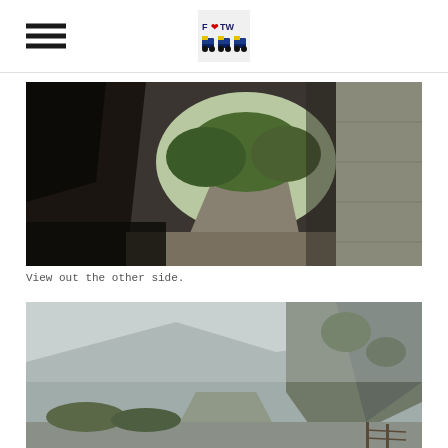FTW logo and hamburger menu
[Figure (photo): Narrow path viewed from inside a tunnel or dark rock overhang. The path runs between dark rocky walls on the left and a concrete wall on the right, with green vegetation and trees visible in the distance.]
View out the other side.
[Figure (photo): Misty mountain valley with steep green cliffs on the right side disappearing into fog. A gravel road or path runs through the center of the valley floor with low shrubs on either side.]